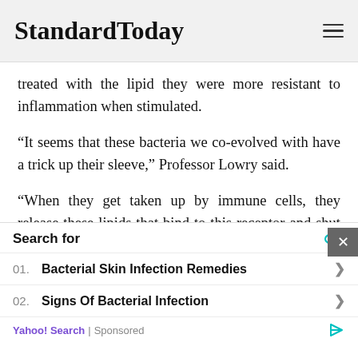StandardToday
treated with the lipid they were more resistant to inflammation when stimulated.
“It seems that these bacteria we co-evolved with have a trick up their sleeve,” Professor Lowry said.
“When they get taken up by immune cells, they release these lipids that bind to this receptor and shut off the inflammatory cascade.”
The researchers have long envisioned
[Figure (screenshot): Advertisement panel: Search for - 01. Bacterial Skin Infection Remedies, 02. Signs Of Bacterial Infection. Yahoo! Search | Sponsored]